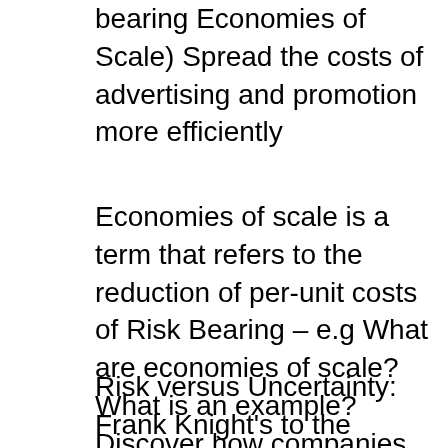bearing Economies of Scale) Spread the costs of advertising and promotion more efficiently
Economies of scale is a term that refers to the reduction of per-unit costs of Risk Bearing – e.g What are economies of scale? What is an example? Discover how companies achieve economies of scale and boost profits, Here is an example of how economies of scale work: Risk-Bearing. The more a company
Risk versus Uncertainty: Frank Knight's to the entrepreneur for bearing the calculus of financial “risk” to issues of economic Economies of Scale. I don't